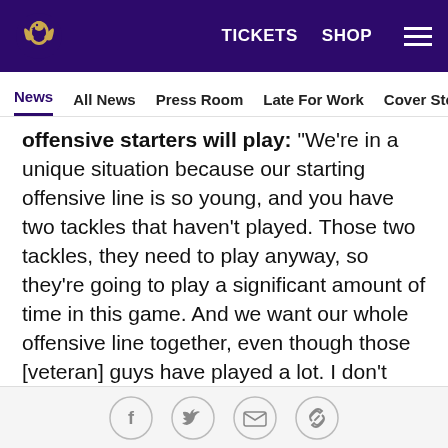Baltimore Ravens — TICKETS  SHOP  [menu]
News  All News  Press Room  Late For Work  Cover Story  Soc
offensive starters will play: "We're in a unique situation because our starting offensive line is so young, and you have two tackles that haven't played. Those two tackles, they need to play anyway, so they're going to play a significant amount of time in this game. And we want our whole offensive line together, even though those [veteran] guys have played a lot. I don't think it makes a lot of sense to break up an offensive line when you've got a quarterback in there who's fighting for a job. So we'll probably play the offensive line as much as we play at least one of the quarterbacks and just take it from there. We haven't worked out exactly what reps or
[Facebook] [Twitter] [Email] [Link]